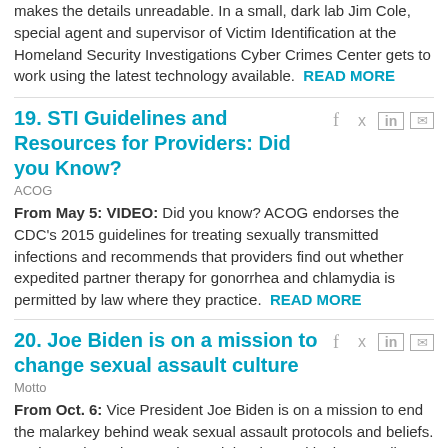makes the details unreadable. In a small, dark lab Jim Cole, special agent and supervisor of Victim Identification at the Homeland Security Investigations Cyber Crimes Center gets to work using the latest technology available.  READ MORE
19. STI Guidelines and Resources for Providers: Did you Know?
ACOG
From May 5: VIDEO: Did you know? ACOG endorses the CDC's 2015 guidelines for treating sexually transmitted infections and recommends that providers find out whether expedited partner therapy for gonorrhea and chlamydia is permitted by law where they practice.  READ MORE
20. Joe Biden is on a mission to change sexual assault culture
Motto
From Oct. 6: Vice President Joe Biden is on a mission to end the malarkey behind weak sexual assault protocols and beliefs. During an interview on The Tonight Show With Jimmy Fallon, Biden expressed his disdain for rape, sexual assault, and what we can do to help make college campuses safer. Earlier this week, Biden appeared in an episode of Law & Order: SVU in which he spoke out about the backlog of rape kits...  READ MORE